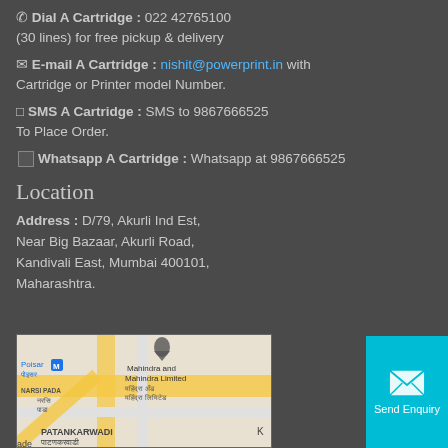📞 Dial A Cartridge : 022 42765100 (30 lines) for free pickup & delivery
✉ E-mail A Cartridge : nishit@powerprint.in with Cartridge or Printer model Number.
□ SMS A Cartridge : SMS to 9867666525 To Place Order.
Whatsapp A Cartridge : Whatsapp at 9867666525
Location
Address : D/79, Akurli Ind Est, Near Big Bazaar, Akurli Road, Kandivali East, Mumbai 400101, Maharashtra.
[Figure (map): Google Maps view showing Patankarwadi area near Poisar, Mahindra and Mahindra Limited, NARSI PADA area, Kandivali East, Mumbai]
[Figure (other): Send Enquiry button - cyan colored button with envelope icon and text 'Send Enquiry']